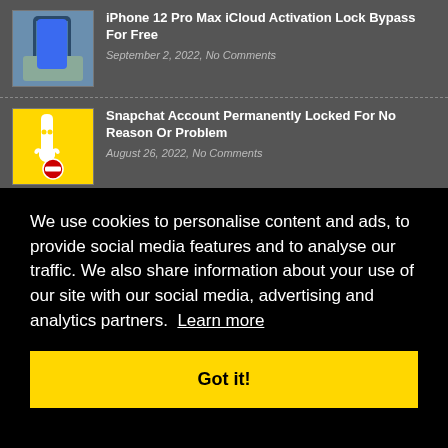[Figure (screenshot): Thumbnail image of a hand holding a blue iPhone 12 Pro Max]
iPhone 12 Pro Max iCloud Activation Lock Bypass For Free
September 2, 2022, No Comments
[Figure (screenshot): Snapchat ghost logo on yellow background with a red no-entry sign below]
Snapchat Account Permanently Locked For No Reason Or Problem
August 26, 2022, No Comments
We use cookies to personalise content and ads, to provide social media features and to analyse our traffic. We also share information about your use of our site with our social media, advertising and analytics partners. Learn more
Got it!